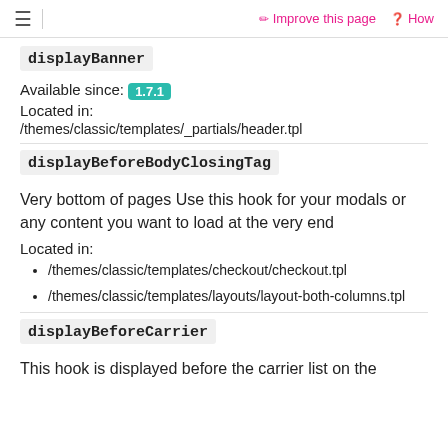☰ | ✏ Improve this page ❓ How
displayBanner
Available since: 1.7.1
Located in:
/themes/classic/templates/_partials/header.tpl
displayBeforeBodyClosingTag
Very bottom of pages Use this hook for your modals or any content you want to load at the very end
Located in:
/themes/classic/templates/checkout/checkout.tpl
/themes/classic/templates/layouts/layout-both-columns.tpl
displayBeforeCarrier
This hook is displayed before the carrier list on the